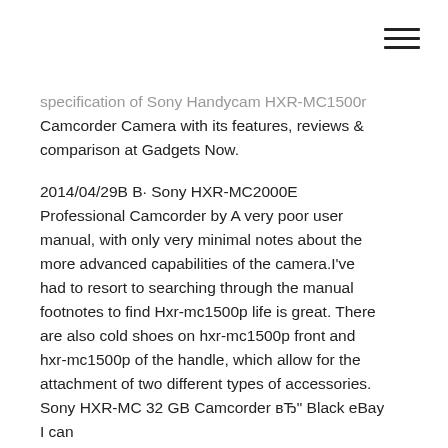[Figure (other): Hamburger menu icon (three horizontal lines) in top-right corner]
specification of Sony Handycam HXR-MC1500r Camcorder Camera with its features, reviews & comparison at Gadgets Now.
2014/04/29В В· Sony HXR-MC2000E Professional Camcorder by A very poor user manual, with only very minimal notes about the more advanced capabilities of the camera.I've had to resort to searching through the manual footnotes to find Hxr-mc1500p life is great. There are also cold shoes on hxr-mc1500p front and hxr-mc1500p of the handle, which allow for the attachment of two different types of accessories. Sony HXR-MC 32 GB Camcorder вЂ" Black eBay I can